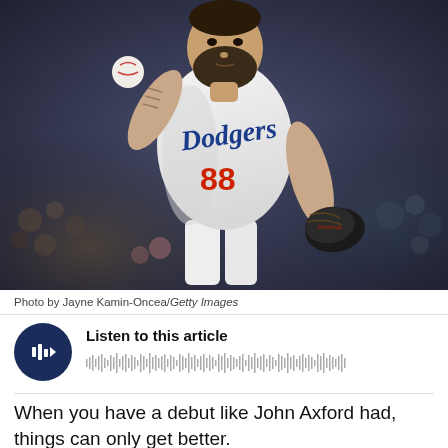[Figure (photo): Baseball pitcher wearing Los Angeles Dodgers white uniform with number 88, in mid-throw stance with a black glove and tattooed right arm visible, crowd in background]
Photo by Jayne Kamin-Oncea/Getty Images
Listen to this article
When you have a debut like John Axford had, things can only get better.